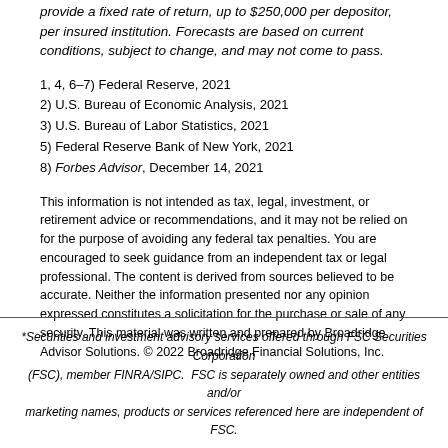provide a fixed rate of return, up to $250,000 per depositor, per insured institution. Forecasts are based on current conditions, subject to change, and may not come to pass.
1, 4, 6–7) Federal Reserve, 2021
2) U.S. Bureau of Economic Analysis, 2021
3) U.S. Bureau of Labor Statistics, 2021
5) Federal Reserve Bank of New York, 2021
8) Forbes Advisor, December 14, 2021
This information is not intended as tax, legal, investment, or retirement advice or recommendations, and it may not be relied on for the purpose of avoiding any federal tax penalties. You are encouraged to seek guidance from an independent tax or legal professional. The content is derived from sources believed to be accurate. Neither the information presented nor any opinion expressed constitutes a solicitation for the purchase or sale of any security. This material was written and prepared by Broadridge Advisor Solutions. © 2022 Broadridge Financial Solutions, Inc.
*Securities and investment advisory services offered through FSC Securities Corporation (FSC), member FINRA/SIPC. FSC is separately owned and other entities and/or marketing names, products or services referenced here are independent of FSC.